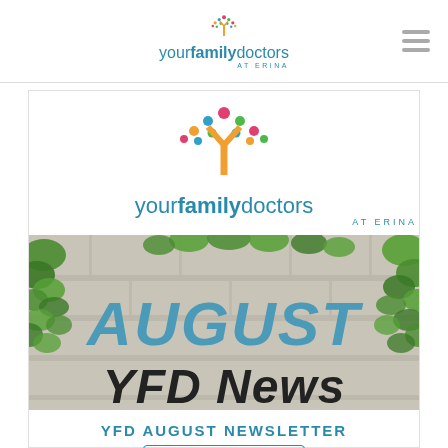yourfamilydoctors AT ERINA
[Figure (logo): Your Family Doctors at Erina logo with colorful tree dots and orange Y shape]
[Figure (photo): Photo of stone wall covered with green ivy leaves with the text AUGUST and YFD News written on the wall]
YFD AUGUST NEWSLETTER
read more